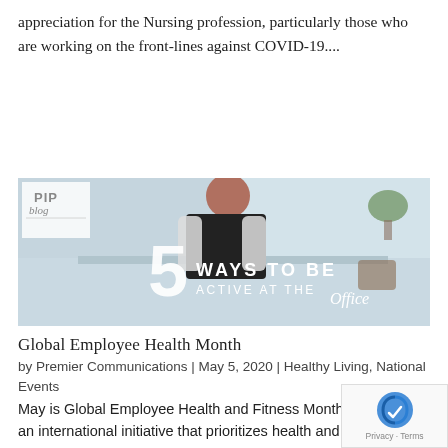appreciation for the Nursing profession, particularly those who are working on the front-lines against COVID-19....
[Figure (photo): Blog image for '5 Ways to Be Active at the Office' showing a woman in a modern office with text overlay: 'PIP blog | 5 WAYS TO BE ACTIVE AT THE Office']
Global Employee Health Month
by Premier Communications | May 5, 2020 | Healthy Living, National Events
May is Global Employee Health and Fitness Month (GEHFM), an international initiative that prioritizes health and fitness in the workplace. If you are looki for simple ways to be more active and engage in more